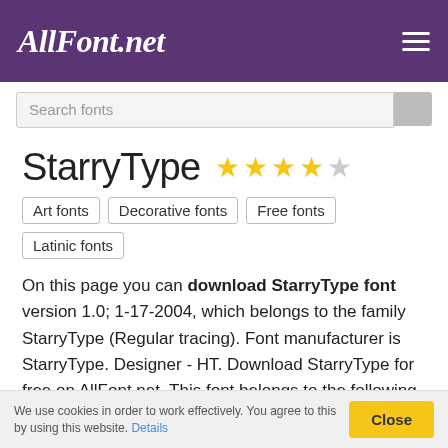AllFont.net
StarryType ★★★★☆
Art fonts
Decorative fonts
Free fonts
Latinic fonts
On this page you can download StarryType font version 1.0; 1-17-2004, which belongs to the family StarryType (Regular tracing). Font manufacturer is StarryType. Designer - HT. Download StarryType for free on AllFont.net. This font belongs to the following categories: art fonts, decorative fonts, free fonts. Font size - only 261 Kb
We use cookies in order to work effectively. You agree to this by using this website. Details